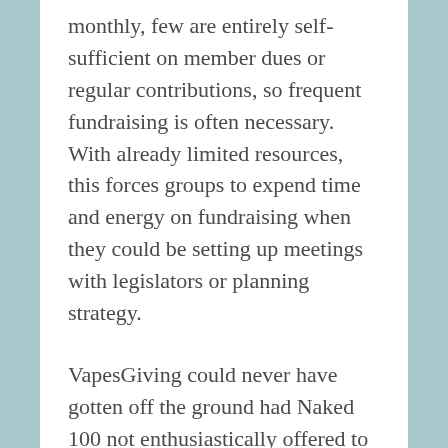monthly, few are entirely self-sufficient on member dues or regular contributions, so frequent fundraising is often necessary. With already limited resources, this forces groups to expend time and energy on fundraising when they could be setting up meetings with legislators or planning strategy.
VapesGiving could never have gotten off the ground had Naked 100 not enthusiastically offered to match donations up to $190,000. Hundreds of members of the vaping community — manufacturers, distributors, retailers, and vapers — participated in raising